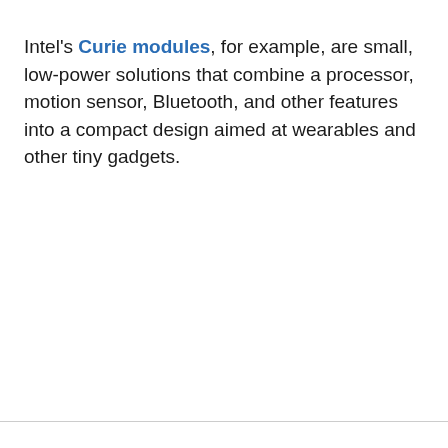Intel's Curie modules, for example, are small, low-power solutions that combine a processor, motion sensor, Bluetooth, and other features into a compact design aimed at wearables and other tiny gadgets.